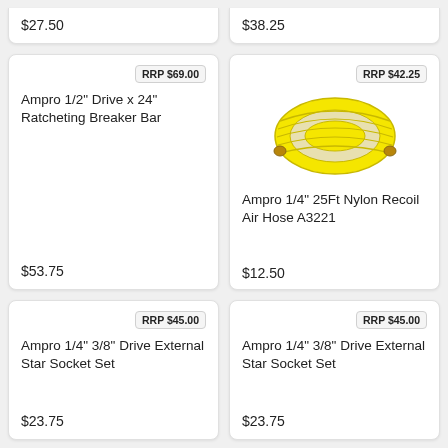$27.50
$38.25
RRP $69.00
Ampro 1/2" Drive x 24" Ratcheting Breaker Bar
$53.75
RRP $42.25
[Figure (photo): Yellow coiled nylon recoil air hose with brass fittings on each end]
Ampro 1/4" 25Ft Nylon Recoil Air Hose A3221
$12.50
RRP $45.00
Ampro 1/4" 3/8" Drive External Star Socket Set
$23.75
RRP $45.00
Ampro 1/4" 3/8" Drive External Star Socket Set
$23.75